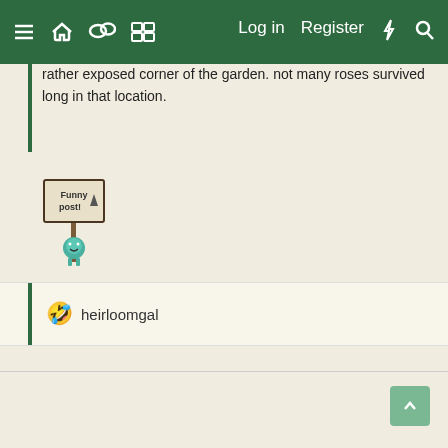Navigation bar with menu, home, chat, grid, Log in, Register, flash, search icons
rather exposed corner of the garden. not many roses survived long in that location.
[Figure (illustration): Pixel art image of a character holding a sign that reads 'Funny post!' with a small teal character below]
heirloomgal